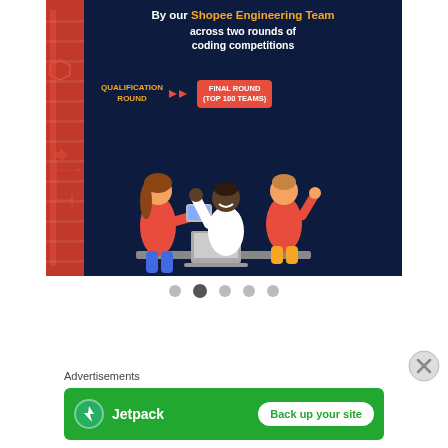[Figure (screenshot): Dark navy blue promotional banner for Shopee Engineering Team coding competition. Top text says 'By our Shopee Engineering Team across two rounds of coding competitions'. Below shows two stages: 'QUALIFICATION ROUND' with orange double arrow pointing to 'FINAL ROUND (TOP 100 TEAMS)' in an orange button. Bottom half shows illustration of three diverse people (woman in orange top, man in white shirt at laptop, man in red shirt) celebrating. Left side has red circuit board decorative elements.]
[Figure (infographic): Five pagination dots: first dot light grey, second dot darker (selected), third, fourth, fifth all light grey.]
Advertisements
[Figure (screenshot): Jetpack advertisement banner on green background. Shows Jetpack logo (lightning bolt icon) and text 'Jetpack' on left, and white rounded button 'Back up your site' on right.]